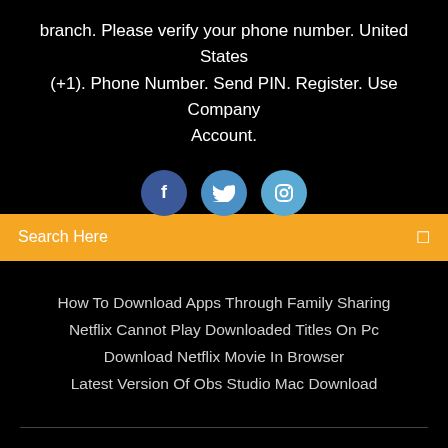branch. Please verify your phone number. United States (+1). Phone Number. Send PIN. Register. Use Company Account.
[Figure (illustration): Three circular social media icons (Facebook, Twitter, Instagram) partially visible at bottom of black section]
Search Here
How To Download Apps Through Family Sharing
Netflix Cannot Play Downloaded Titles On Pc
Download Netflix Movie In Browser
Latest Version Of Obs Studio Mac Download
Copyright ©2022 All rights reserved | This template is made with ♡ by Colorlib